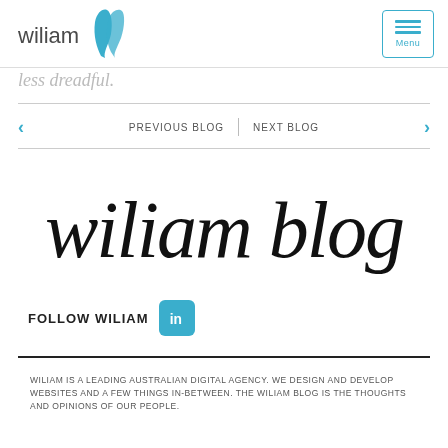wiliam [logo] Menu
less dreadful.
PREVIOUS BLOG | NEXT BLOG
[Figure (logo): wiliam blog handwritten script logo]
FOLLOW WILIAM [LinkedIn icon]
WILIAM IS A LEADING AUSTRALIAN DIGITAL AGENCY. WE DESIGN AND DEVELOP WEBSITES AND A FEW THINGS IN-BETWEEN. THE WILIAM BLOG IS THE THOUGHTS AND OPINIONS OF OUR PEOPLE.